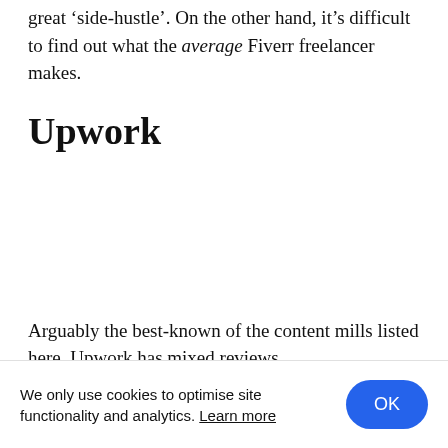great 'side-hustle'. On the other hand, it's difficult to find out what the average Fiverr freelancer makes.
Upwork
Arguably the best-known of the content mills listed here, Upwork has mixed reviews. On the other side it's...
We only use cookies to optimise site functionality and analytics. Learn more